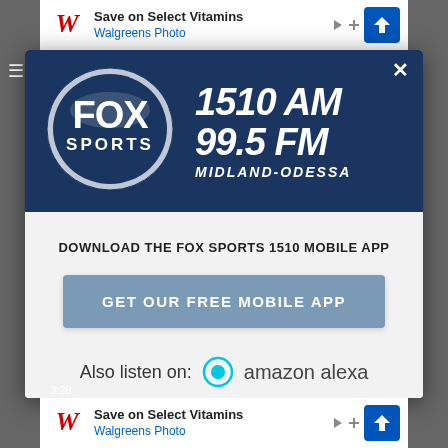[Figure (screenshot): Walgreens advertisement banner at top: 'Save on Select Vitamins' / 'Walgreens Photo' with Walgreens W logo and blue direction arrow icon]
[Figure (screenshot): Fox Sports 1510 AM / 99.5 FM Midland-Odessa radio station popup modal with logo, download prompt, Get Our Free Mobile App button, and also listen on Amazon Alexa text]
DOWNLOAD THE FOX SPORTS 1510 MOBILE APP
GET OUR FREE MOBILE APP
Also listen on:  amazon alexa
[Figure (screenshot): Walgreens advertisement banner at bottom: 'Save on Select Vitamins' / 'Walgreens Photo']